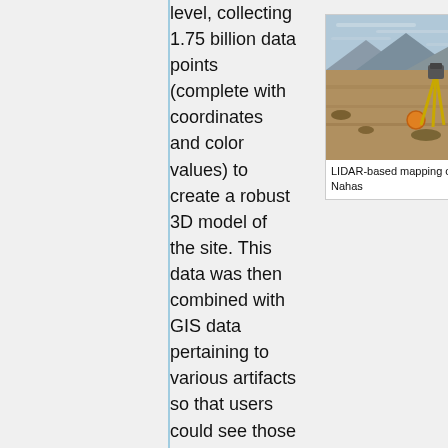level, collecting 1.75 billion data points (complete with coordinates and color values) to create a robust 3D model of the site. This data was then combined with GIS data pertaining to various artifacts so that users could see those artifacts in their original environment, and in three dimensions using our advanced
[Figure (photo): A LIDAR scanner on a yellow tripod in a rocky desert landscape with mountains in background, with a person seated nearby. Caption reads: LIDAR-based mapping of Khirbet en-Nahas]
LIDAR-based mapping of Khirbet en-Nahas